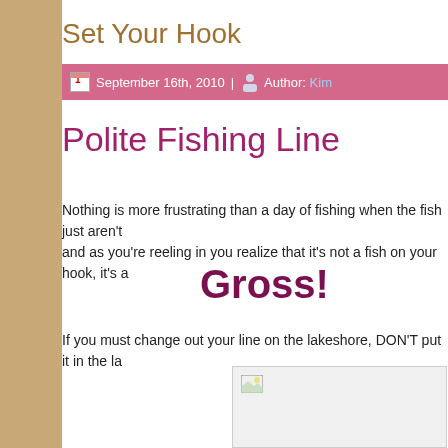Set Your Hook
September 16th, 2010 | Author: Kim
Polite Fishing Line
Nothing is more frustrating than a day of fishing when the fish just aren't and as you're reeling in you realize that it's not a fish on your hook, it's a
Gross!
If you must change out your line on the lakeshore, DON'T put it in the la
[Figure (photo): Broken/missing image placeholder box]